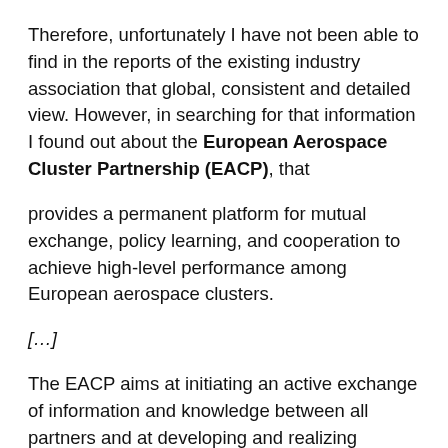Therefore, unfortunately I have not been able to find in the reports of the existing industry association that global, consistent and detailed view. However, in searching for that information I found out about the European Aerospace Cluster Partnership (EACP), that
provides a permanent platform for mutual exchange, policy learning, and cooperation to achieve high-level performance among European aerospace clusters.
[…]
The EACP aims at initiating an active exchange of information and knowledge between all partners and at developing and realizing concrete steps for long-term trans-national cooperation between clusters and companies for a stronger and more competitive European